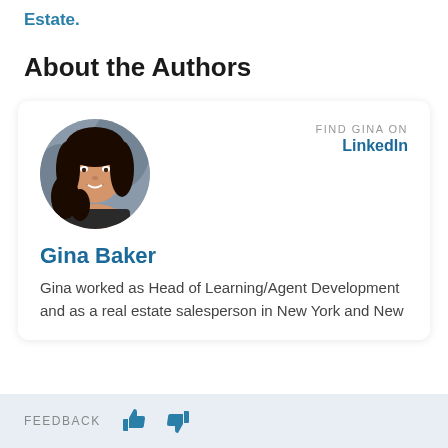Estate.
About the Authors
[Figure (photo): Circular portrait photo of Gina Baker, a woman with dark curly hair, smiling]
FIND GINA ON
LinkedIn
Gina Baker
Gina worked as Head of Learning/Agent Development and as a real estate salesperson in New York and New
FEEDBACK